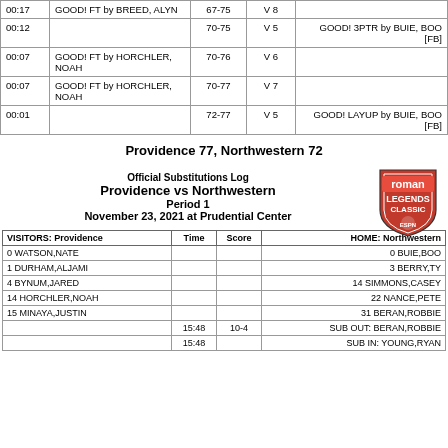| Time | VISITORS | Score | Margin | HOME |
| --- | --- | --- | --- | --- |
| 00:17 | GOOD! FT by BREED, ALYN | 67-75 | V 8 |  |
| 00:12 |  | 70-75 | V 5 | GOOD! 3PTR by BUIE, BOO [FB] |
| 00:07 | GOOD! FT by HORCHLER, NOAH | 70-76 | V 6 |  |
| 00:07 | GOOD! FT by HORCHLER, NOAH | 70-77 | V 7 |  |
| 00:01 |  | 72-77 | V 5 | GOOD! LAYUP by BUIE, BOO [FB] |
Providence 77, Northwestern 72
Official Substitutions Log
Providence vs Northwestern
Period 1
November 23, 2021 at Prudential Center
| VISITORS: Providence | Time | Score | HOME: Northwestern |
| --- | --- | --- | --- |
| 0 WATSON,NATE |  |  | 0 BUIE,BOO |
| 1 DURHAM,ALJAMI |  |  | 3 BERRY,TY |
| 4 BYNUM,JARED |  |  | 14 SIMMONS,CASEY |
| 14 HORCHLER,NOAH |  |  | 22 NANCE,PETE |
| 15 MINAYA,JUSTIN |  |  | 31 BERAN,ROBBIE |
|  | 15:48 | 10-4 | SUB OUT: BERAN,ROBBIE |
|  | 15:48 |  | SUB IN: YOUNG,RYAN |